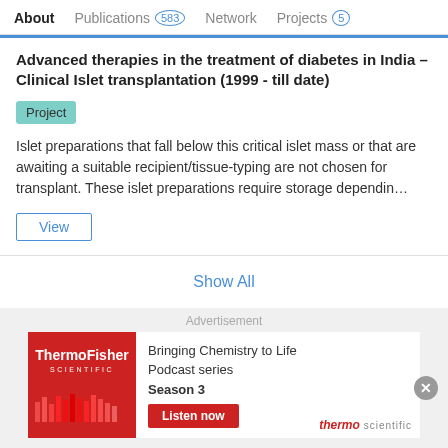About  Publications 583  Network  Projects 5
Advanced therapies in the treatment of diabetes in India – Clinical Islet transplantation (1999 - till date)
Project
Islet preparations that fall below this critical islet mass or that are awaiting a suitable recipient/tissue-typing are not chosen for transplant. These islet preparations require storage dependin…
View
Show All
Advertisement
ThermoFisher SCIENTIFIC  Bringing Chemistry to Life Podcast series Season 3  Listen now  thermo scientific